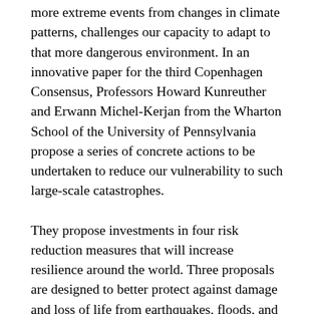more extreme events from changes in climate patterns, challenges our capacity to adapt to that more dangerous environment. In an innovative paper for the third Copenhagen Consensus, Professors Howard Kunreuther and Erwann Michel-Kerjan from the Wharton School of the University of Pennsylvania propose a series of concrete actions to be undertaken to reduce our vulnerability to such large-scale catastrophes.
They propose investments in four risk reduction measures that will increase resilience around the world. Three proposals are designed to better protect against damage and loss of life from earthquakes, floods, and hurricanes/cyclones respectively, and one is intended to protect communities more generally.